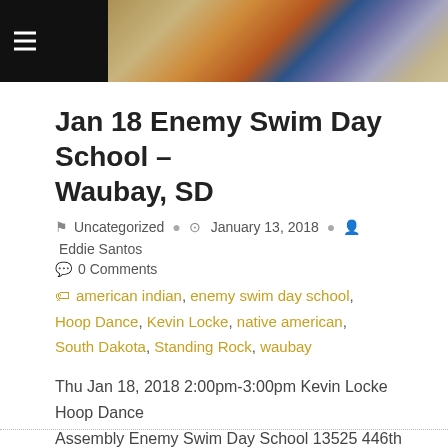[Figure (photo): Header banner image with dark background showing a Native American dancer in colorful regalia with feathers, with a hamburger menu icon on the left]
Jan 18 Enemy Swim Day School – Waubay, SD
Uncategorized  January 13, 2018  Eddie Santos  0 Comments
american indian, enemy swim day school, Hoop Dance, Kevin Locke, native american, South Dakota, Standing Rock, waubay
Thu Jan 18, 2018 2:00pm-3:00pm Kevin Locke Hoop Dance Assembly Enemy Swim Day School 13525 446th Avenue, Waubay, SD 57273
READ MORE